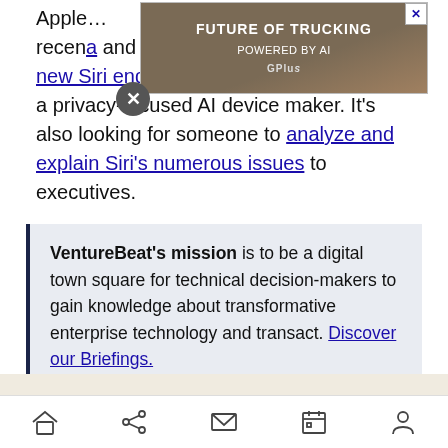Apple... recently... a and upping its efforts to recruit new Siri engineers, it purchased Silk Labs, a privacy-focused AI device maker. It's also looking for someone to analyze and explain Siri's numerous issues to executives.
[Figure (photo): Advertisement overlay showing a truck on a desert road with text 'FUTURE OF TRUCKING POWERED BY AI' and a GPlusAI logo. Has a close (X) button.]
VentureBeat's mission is to be a digital town square for technical decision-makers to gain knowledge about transformative enterprise technology and transact. Discover our Briefings.
Transform 2022 On-Demand
Home Share Mail Calendar Profile